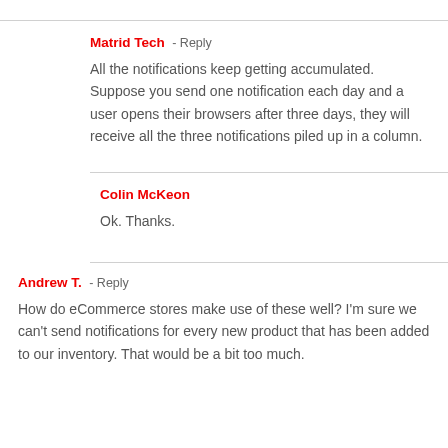Matrid Tech - Reply
All the notifications keep getting accumulated. Suppose you send one notification each day and a user opens their browsers after three days, they will receive all the three notifications piled up in a column.
Colin McKeon
Ok. Thanks.
Andrew T. - Reply
How do eCommerce stores make use of these well? I'm sure we can't send notifications for every new product that has been added to our inventory. That would be a bit too much.